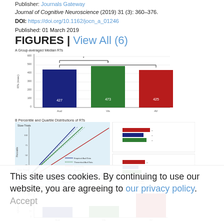Publisher: Journals Gateway
Journal of Cognitive Neuroscience (2019) 31 (3): 360–376.
DOI: https://doi.org/10.1162/jocn_a_01246
Published: 01 March 2019
FIGURES | View All (6)
A Group-averaged Median RTs
[Figure (bar-chart): A Group-averaged Median RTs]
B Percentile and Quartile Distributions of RTs
[Figure (continuous-plot): Percentile and Quartile Distributions of RTs showing slow and fast trials with empirical data, theoretical fit lines, and bar charts for quartile distributions by condition (auditory-only, visual-only, audiovisual)]
A Group-averaged IQR
[Figure (bar-chart): A Group-averaged IQR]
This site uses cookies. By continuing to use our website, you are agreeing to our privacy policy. Accept